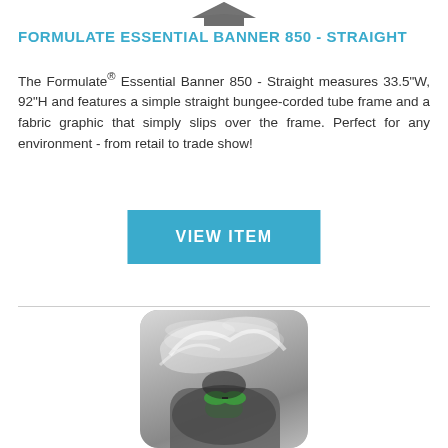[Figure (logo): Brand logo arrow/chevron at top of page]
FORMULATE ESSENTIAL BANNER 850 - STRAIGHT
The Formulate® Essential Banner 850 - Straight measures 33.5"W, 92"H and features a simple straight bungee-corded tube frame and a fabric graphic that simply slips over the frame. Perfect for any environment - from retail to trade show!
[Figure (other): Blue 'VIEW ITEM' button]
[Figure (photo): Black and white photo of a swimmer with a green goggle cap, shown from above/front in water with splash effects]